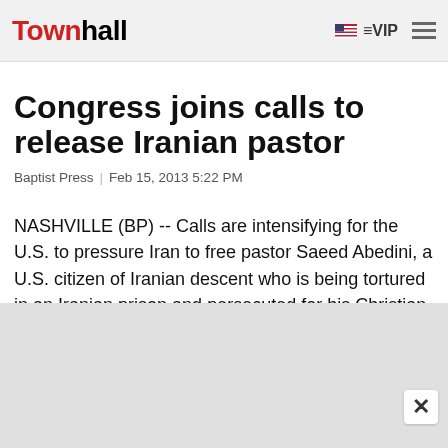Townhall | VIP
Congress joins calls to release Iranian pastor
Baptist Press  |  Feb 15, 2013 5:22 PM
NASHVILLE (BP) -- Calls are intensifying for the U.S. to pressure Iran to free pastor Saeed Abedini, a U.S. citizen of Iranian descent who is being tortured in an Iranian prison and persecuted for his Christian faith.